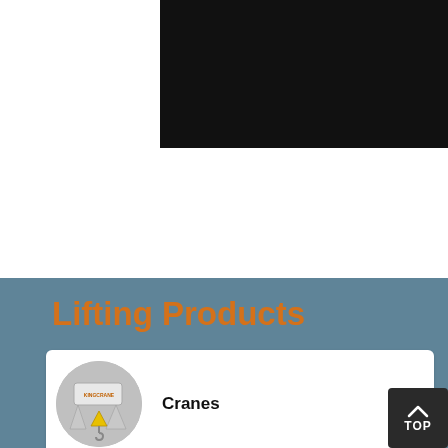[Figure (photo): Black banner/header image at top of page]
Lifting Products
Cranes
Electric Hoists
Forklifts